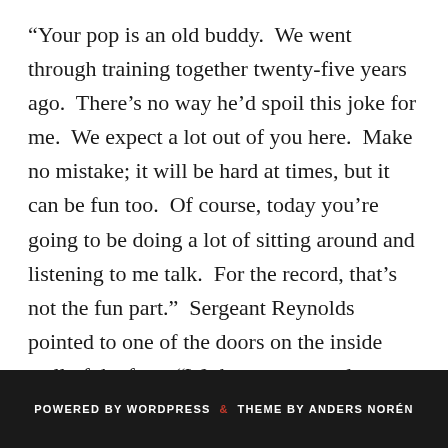“Your pop is an old buddy.  We went through training together twenty-five years ago.  There’s no way he’d spoil this joke for me.  We expect a lot out of you here.  Make no mistake; it will be hard at times, but it can be fun too.  Of course, today you’re going to be doing a lot of sitting around and listening to me talk.  For the record, that’s not the fun part.”  Sergeant Reynolds pointed to one of the doors on the inside wall of the fort.  “We best get started.   Head on in there and take a seat.”
POWERED BY WORDPRESS & THEME BY ANDERS NORÉN